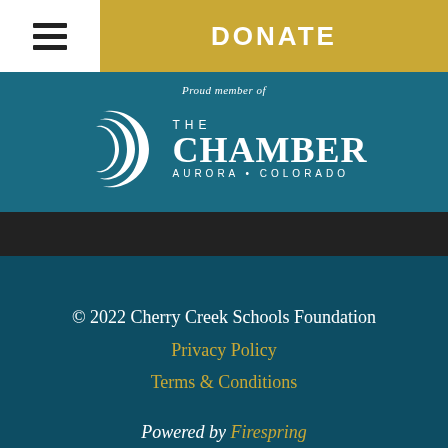DONATE
[Figure (logo): The Chamber Aurora Colorado logo with crescent moon arcs and text]
Proud member of
© 2022 Cherry Creek Schools Foundation
Privacy Policy
Terms & Conditions
Powered by Firespring